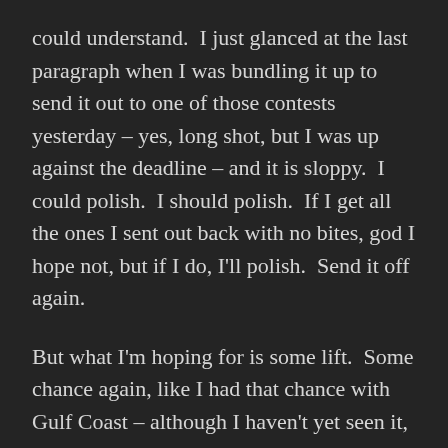could understand.  I just glanced at the last paragraph when I was bundling it up to send it out to one of those contests yesterday – yes, long shot, but I was up against the deadline – and it is sloppy.  I could polish.  I should polish.  If I get all the ones I sent out back with no bites, god I hope not, but if I do, I'll polish.  Send it off again.
But what I'm hoping for is some lift.  Some chance again, like I had that chance with Gulf Coast – although I haven't yet seen it, so I can hardly believe it's true –